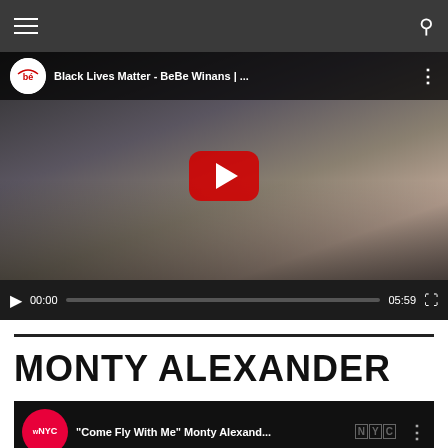Navigation header with hamburger menu and search icon
[Figure (screenshot): YouTube video embed showing 'Black Lives Matter - BeBe Winans | ...' with a child raising a fist at a protest. Controls show 00:00 / 05:59.]
MONTY ALEXANDER
[Figure (screenshot): WNYC YouTube video embed showing 'Come Fly With Me Monty Alexand...']